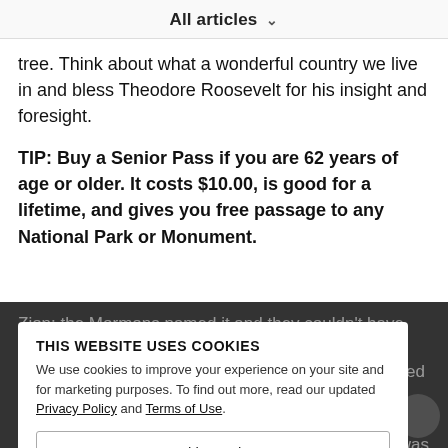All articles
tree. Think about what a wonderful country we live in and bless Theodore Roosevelt for his insight and foresight.
TIP: Buy a Senior Pass if you are 62 years of age or older. It costs $10.00, is good for a lifetime, and gives you free passage to any National Park or Monument.
Zion: the Mormons named it and they couldn't have done better. More than a place, it is a state of i.e. Absolutely Isaac and Jacob. The truth is if one wanted to pray, this would be the best spot for it, better than any church, temple or mosque. The visitor is overcome by the majesty of the scene. When Allie was driving in at 20 mph, winding up and down the mountains with no guard rails as
THIS WEBSITE USES COOKIES
We use cookies to improve your experience on your site and for marketing purposes. To find out more, read our updated Privacy Policy and Terms of Use.
Cookie Settings
Accept All Cookies